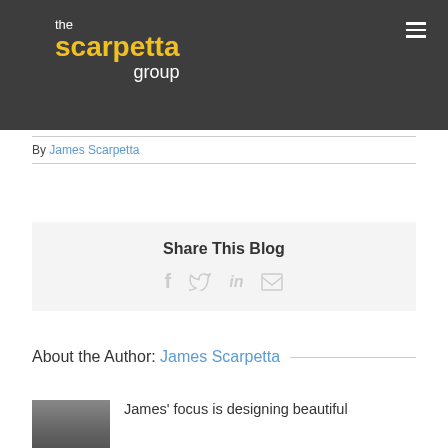[Figure (logo): The Scarpetta Group logo — white and yellow text on dark grey background, with hamburger menu icon in top right]
By James Scarpetta
Share This Blog
About the Author: James Scarpetta
James' focus is designing beautiful
[Figure (photo): Headshot photo of James Scarpetta]